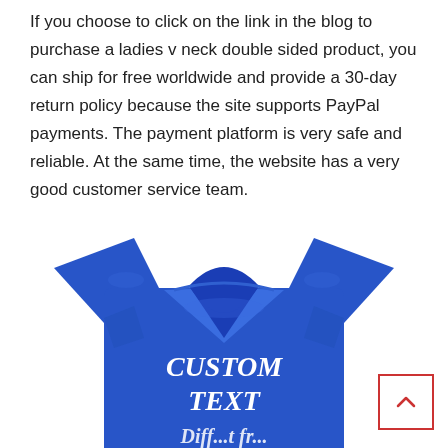If you choose to click on the link in the blog to purchase a ladies v neck double sided product, you can ship for free worldwide and provide a 30-day return policy because the site supports PayPal payments. The payment platform is very safe and reliable. At the same time, the website has a very good customer service team.
[Figure (photo): A blue v-neck t-shirt with white custom text printed on the front reading 'CUSTOM TEXT' and partially visible text below it.]